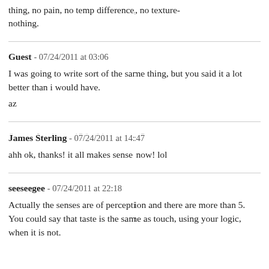thing, no pain, no temp difference, no texture-nothing.
Guest - 07/24/2011 at 03:06
I was going to write sort of the same thing, but you said it a lot better than i would have.
az
James Sterling - 07/24/2011 at 14:47
ahh ok, thanks! it all makes sense now! lol
seeseegee - 07/24/2011 at 22:18
Actually the senses are of perception and there are more than 5. You could say that taste is the same as touch, using your logic, when it is not.